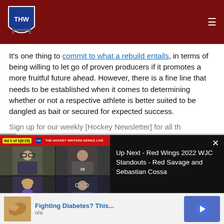THW - The Hockey Writers header with logo and navigation
It's one thing to commit to what a rebuild entails, in terms of being willing to let go of proven producers if it promotes a more fruitful future ahead. However, there is a fine line that needs to be established when it comes to determining whether or not a respective athlete is better suited to be dangled as bait or secured for expected success.
Sign up for our weekly [Hockey Newsletter] for all th...
[Figure (screenshot): Embedded video player showing The Hockey Writers Series Live panel discussion with four participants in a video call grid. Ad overlay showing 'Ad 1 of 1 (0:15)'. Right panel shows 'Up Next - Red Wings 2022 WJC Standouts - Red Savage and Sebastian Cossa' with close (X) button.]
[Figure (infographic): Advertisement banner at bottom: image of cashews/nuts on left, text 'Fighting Diabetes? This...' in blue with 'n/a' subtitle, and a blue circle with right arrow on right side.]